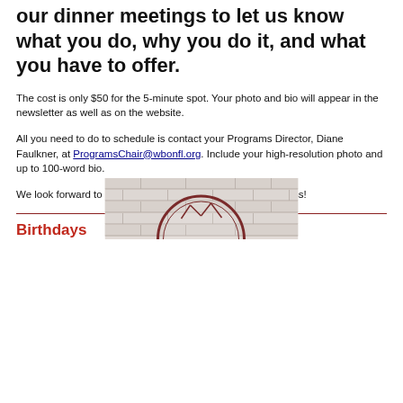our dinner meetings to let us know what you do, why you do it, and what you have to offer.
The cost is only $50 for the 5-minute spot. Your photo and bio will appear in the newsletter as well as on the website.
All you need to do to schedule is contact your Programs Director, Diane Faulkner, at ProgramsChair@wbonfl.org. Include your high-resolution photo and up to 100-word bio.
We look forward to learning more about you and your business!
Birthdays
[Figure (photo): Partially visible circular logo or emblem overlaid on a light brick wall background, showing the lower portion of the image.]